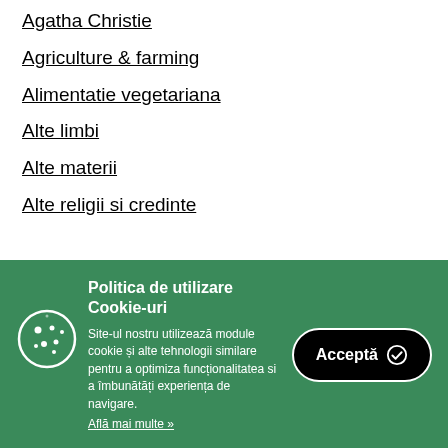Agatha Christie
Agriculture & farming
Alimentatie vegetariana
Alte limbi
Alte materii
Alte religii si credinte
Politica de utilizare Cookie-uri
Site-ul nostru utilizează module cookie și alte tehnologii similare pentru a optimiza funcționalitatea si a îmbunătăți experiența de navigare.
Află mai multe »
Acceptă